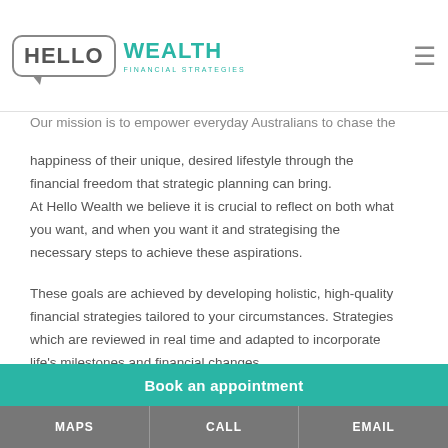HELLO WEALTH FINANCIAL STRATEGIES
Our mission is to empower everyday Australians to chase the happiness of their unique, desired lifestyle through the financial freedom that strategic planning can bring. At Hello Wealth we believe it is crucial to reflect on both what you want, and when you want it and strategising the necessary steps to achieve these aspirations.
These goals are achieved by developing holistic, high-quality financial strategies tailored to your circumstances. Strategies which are reviewed in real time and adapted to incorporate life's milestones and financial changes.
Book an appointment
MAPS | CALL | EMAIL